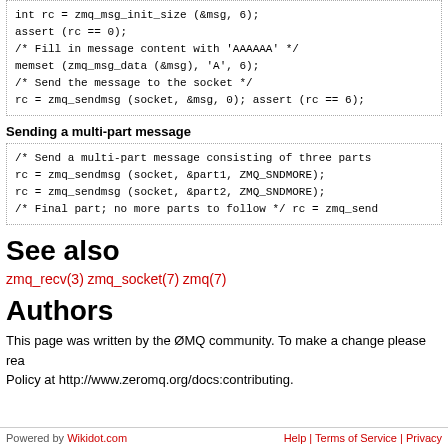int rc = zmq_msg_init_size (&msg, 6);
assert (rc == 0);
/* Fill in message content with 'AAAAAA' */
memset (zmq_msg_data (&msg), 'A', 6);
/* Send the message to the socket */
rc = zmq_sendmsg (socket, &msg, 0); assert (rc == 6);
Sending a multi-part message
/* Send a multi-part message consisting of three parts
rc = zmq_sendmsg (socket, &part1, ZMQ_SNDMORE);
rc = zmq_sendmsg (socket, &part2, ZMQ_SNDMORE);
/* Final part; no more parts to follow */ rc = zmq_send
See also
zmq_recv(3) zmq_socket(7) zmq(7)
Authors
This page was written by the ØMQ community. To make a change please read the ØMQ Contribution Policy at http://www.zeromq.org/docs:contributing.
Powered by Wikidot.com    Help | Terms of Service | Privacy